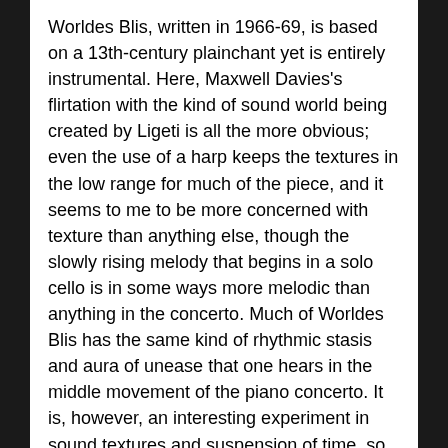Worldes Blis, written in 1966-69, is based on a 13th-century plainchant yet is entirely instrumental. Here, Maxwell Davies's flirtation with the kind of sound world being created by Ligeti is all the more obvious; even the use of a harp keeps the textures in the low range for much of the piece, and it seems to me to be more concerned with texture than anything else, though the slowly rising melody that begins in a solo cello is in some ways more melodic than anything in the concerto. Much of Worldes Blis has the same kind of rhythmic stasis and aura of unease that one hears in the middle movement of the piano concerto. It is, however, an interesting experiment in sound textures and suspension of time, so to speak, and it works very well. Slowly, almost imperceptibly at first, the music becomes busier, yet these “ Allegro s” will never be confused with a Mahler scherzo or a Prokofiev symphonic finale.
As the music becomes busier, it also becomes denser both harmonically and rhythmically, pulling the listener along but not quite engaging one except to admire the